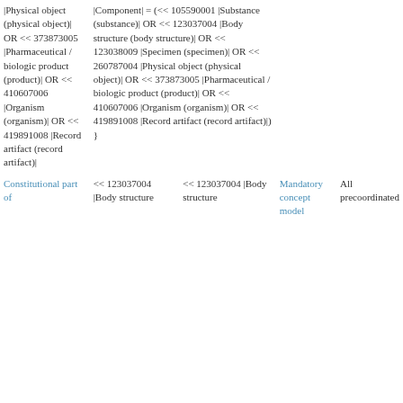| |Physical object (physical object)| OR << 373873005 |Pharmaceutical / biologic product (product)| OR << 410607006 |Organism (organism)| OR << 419891008 |Record artifact (record artifact)| | |Component| = (<< 105590001 |Substance (substance)| OR << 123037004 |Body structure (body structure)| OR << 123038009 |Specimen (specimen)| OR << 260787004 |Physical object (physical object)| OR << 373873005 |Pharmaceutical / biologic product (product)| OR << 410607006 |Organism (organism)| OR << 419891008 |Record artifact (record artifact)|) |  |  |
| Constitutional part of | << 123037004 |Body structure | << 123037004 |Body structure | Mandatory concept model | All precoordinated |